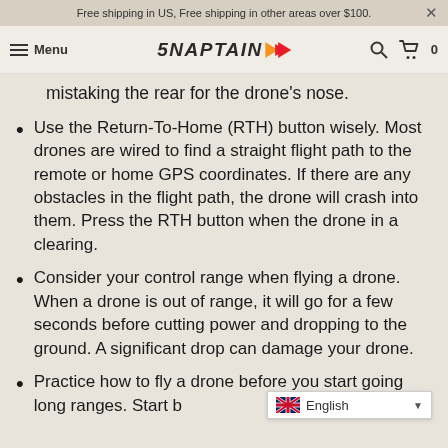Free shipping in US, Free shipping in other areas over $100.  ×
Menu  SNAPTAIN  [search] [cart] 0
mistaking the rear for the drone's nose.
Use the Return-To-Home (RTH) button wisely. Most drones are wired to find a straight flight path to the remote or home GPS coordinates. If there are any obstacles in the flight path, the drone will crash into them. Press the RTH button when the drone in a clearing.
Consider your control range when flying a drone. When a drone is out of range, it will go for a few seconds before cutting power and dropping to the ground. A significant drop can damage your drone.
Practice how to fly a drone before you start going long ranges. Start b…